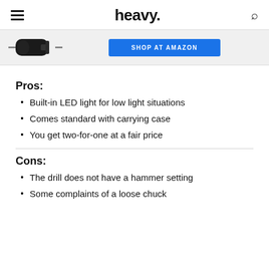heavy.
[Figure (photo): Product image of a drill with dashes on each side, and a blue 'SHOP AT AMAZON' button to the right]
Pros:
Built-in LED light for low light situations
Comes standard with carrying case
You get two-for-one at a fair price
Cons:
The drill does not have a hammer setting
Some complaints of a loose chuck